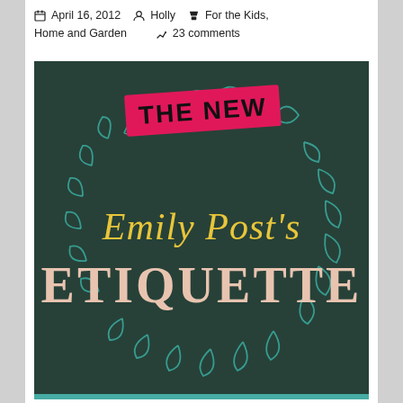April 16, 2012  Holly  For the Kids, Home and Garden  23 comments
[Figure (photo): Book cover of 'The New Emily Post's Etiquette' — dark teal/green hardcover with a pink sticker reading 'THE NEW', cursive yellow text 'Emily Post's', and large serif pale pink text 'ETIQUETTE', surrounded by decorative teal swirl patterns.]